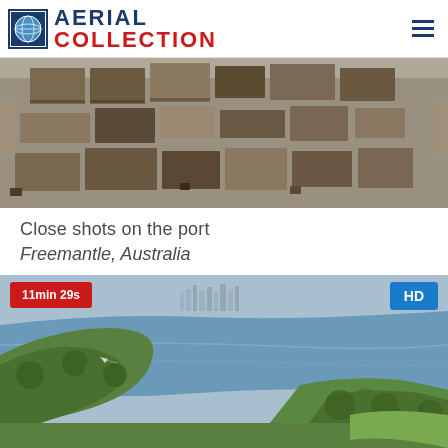AERIAL COLLECTION
[Figure (photo): Aerial view of Freemantle port showing shipping containers and cargo trucks from above]
Close shots on the port
Freemantle, Australia
[Figure (photo): Aerial view of a river estuary with green vegetation and city skyline in the background, Freemantle Australia. Badge shows 11min 29s duration and HD quality.]